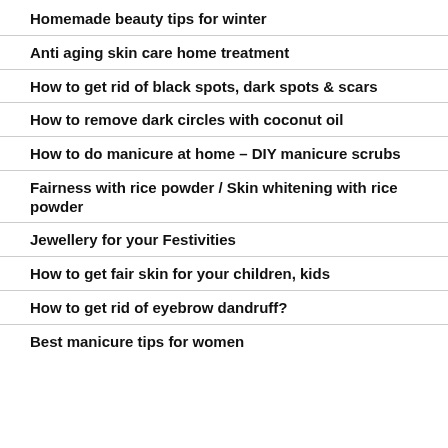Homemade beauty tips for winter
Anti aging skin care home treatment
How to get rid of black spots, dark spots & scars
How to remove dark circles with coconut oil
How to do manicure at home – DIY manicure scrubs
Fairness with rice powder / Skin whitening with rice powder
Jewellery for your Festivities
How to get fair skin for your children, kids
How to get rid of eyebrow dandruff?
Best manicure tips for women